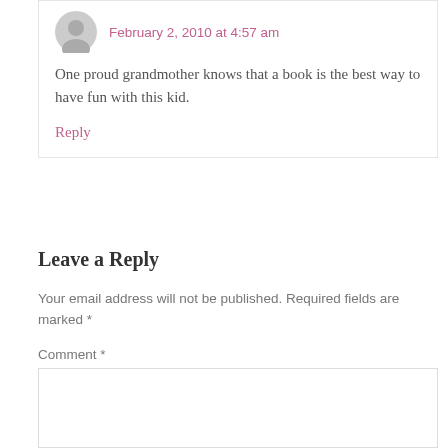February 2, 2010 at 4:57 am
One proud grandmother knows that a book is the best way to have fun with this kid.
Reply
Leave a Reply
Your email address will not be published. Required fields are marked *
Comment *